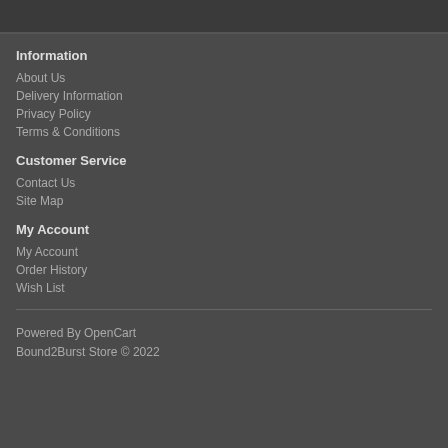Information
About Us
Delivery Information
Privacy Policy
Terms & Conditions
Customer Service
Contact Us
Site Map
My Account
My Account
Order History
Wish List
Powered By OpenCart
Bound2Burst Store © 2022